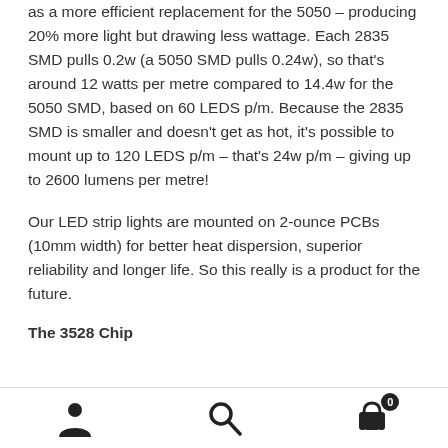as a more efficient replacement for the 5050 – producing 20% more light but drawing less wattage. Each 2835 SMD pulls 0.2w (a 5050 SMD pulls 0.24w), so that's around 12 watts per metre compared to 14.4w for the 5050 SMD, based on 60 LEDS p/m. Because the 2835 SMD is smaller and doesn't get as hot, it's possible to mount up to 120 LEDS p/m – that's 24w p/m – giving up to 2600 lumens per metre!
Our LED strip lights are mounted on 2-ounce PCBs (10mm width) for better heat dispersion, superior reliability and longer life. So this really is a product for the future.
The 3528 Chip
[Figure (infographic): Bottom navigation bar with three icons: user/account icon (left), search/magnifying glass icon (center), shopping cart icon with badge showing 0 (right)]